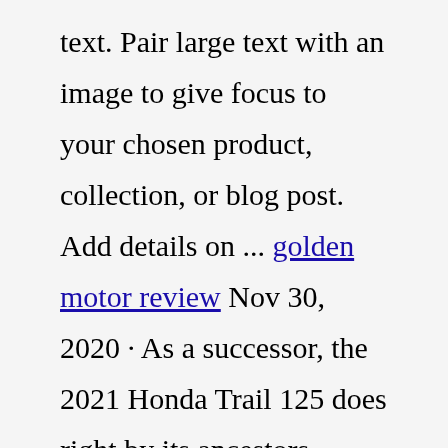Cart: 0 Items. Home, Catalog, Image with text. Pair large text with an image to give focus to your chosen product, collection, or blog post. Add details on ... golden motor review Nov 30, 2020 · As a successor, the 2021 Honda Trail 125 does right by its ancestors, providing the same fun, casual riding experience that the original CT/Trail built its famed reputation on. It isn't quirk ... Except now it has a fuel-injected 125cc engine, disc brakes and a four-speed